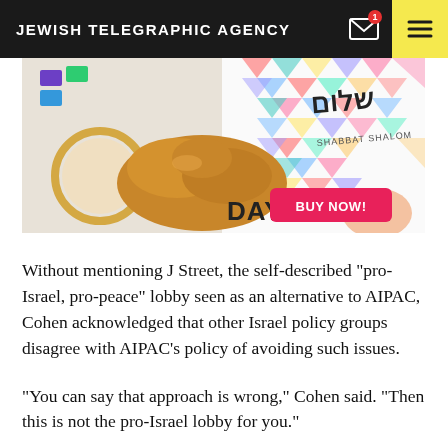JEWISH TELEGRAPHIC AGENCY
[Figure (photo): Advertisement image showing challah bread, embroidery hoop, colorful geometric patterned cloth with Hebrew text 'Shalom' and 'Shabbat Shalom', with a pink BUY NOW! button and text DAYS]
Without mentioning J Street, the self-described “pro-Israel, pro-peace” lobby seen as an alternative to AIPAC, Cohen acknowledged that other Israel policy groups disagree with AIPAC’s policy of avoiding such issues.
“You can say that approach is wrong,” Cohen said. “Then this is not the pro-Israel lobby for you.”